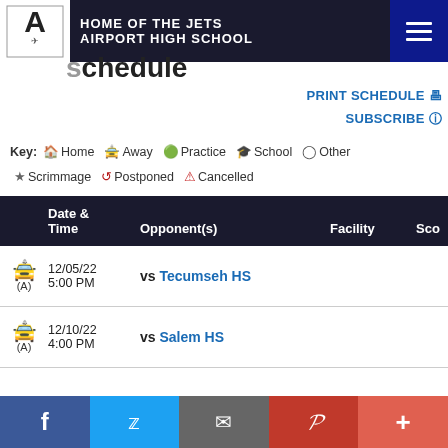HOME OF THE JETS AIRPORT HIGH SCHOOL
Schedule
PRINT SCHEDULE
SUBSCRIBE
Key: Home Away Practice School Other Scrimmage Postponed Cancelled
|  | Date & Time | Opponent(s) | Facility | Sco |
| --- | --- | --- | --- | --- |
| (A) | 12/05/22 5:00 PM | vs Tecumseh HS |  |  |
| (A) | 12/10/22 4:00 PM | vs Salem HS |  |  |